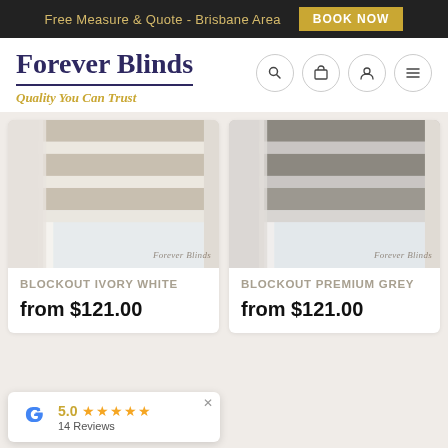Free Measure & Quote - Brisbane Area  BOOK NOW
Forever Blinds
Quality You Can Trust
[Figure (photo): Blockout blind in ivory white colour installed on a window, showing horizontal stripe pattern. Watermark: Forever Blinds]
BLOCKOUT IVORY WHITE
from $121.00
[Figure (photo): Blockout blind in premium grey colour installed on a window, showing horizontal stripe pattern. Watermark: Forever Blinds]
BLOCKOUT PREMIUM GREY
from $121.00
5.0 ★★★★★  14 Reviews